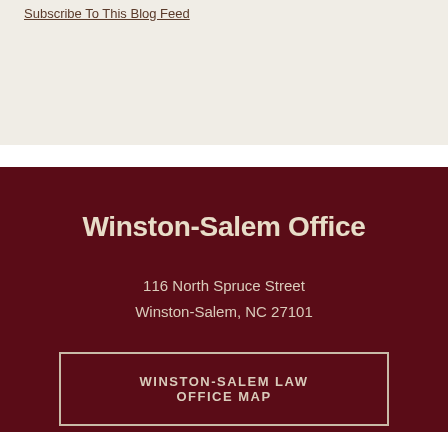Subscribe To This Blog Feed
Winston-Salem Office
116 North Spruce Street
Winston-Salem, NC 27101
WINSTON-SALEM LAW OFFICE MAP